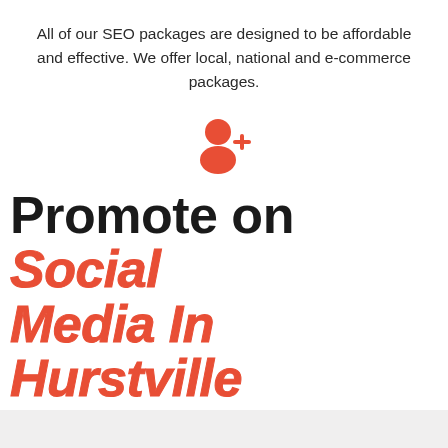All of our SEO packages are designed to be affordable and effective. We offer local, national and e-commerce packages.
[Figure (illustration): Orange/red user-add icon (person silhouette with a plus sign)]
Support
In addition to phone and email support, we can also visit your office if needed.
Promote on Social Media In Hurstville